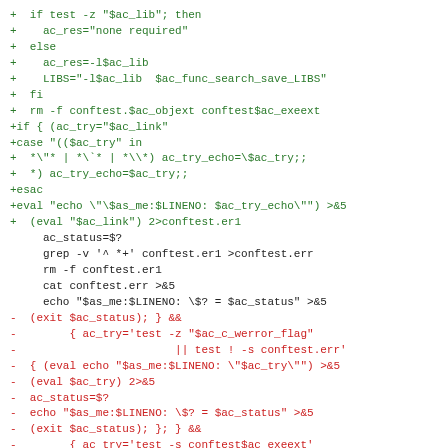[Figure (other): A diff-style code block showing shell script changes. Green lines start with '+' (additions), black lines are context, and red lines start with '-' (deletions). The code shows autoconf/shell script logic for library search and conftest operations.]